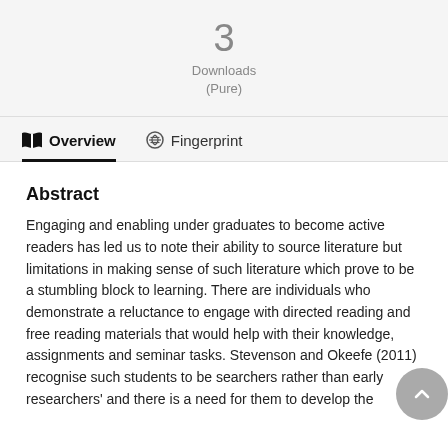3
Downloads
(Pure)
Overview   Fingerprint
Abstract
Engaging and enabling under graduates to become active readers has led us to note their ability to source literature but limitations in making sense of such literature which prove to be a stumbling block to learning. There are individuals who demonstrate a reluctance to engage with directed reading and free reading materials that would help with their knowledge, assignments and seminar tasks. Stevenson and Okeefe (2011) recognise such students to be searchers rather than early researchers' and there is a need for them to develop the